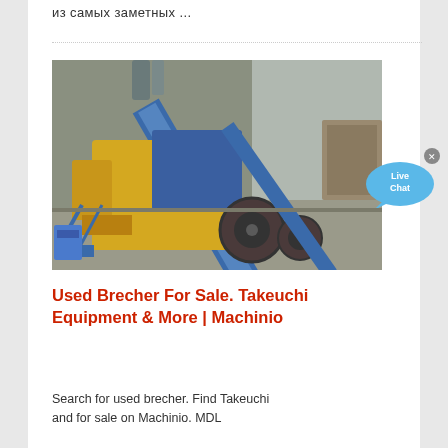из самых заметных ...
[Figure (photo): Industrial machinery - a yellow and blue crusher/brecher machine with conveyor belt in an outdoor construction/mining setting]
[Figure (illustration): Live Chat bubble icon - blue speech bubble with 'Live Chat' text and an X close button]
Used Brecher For Sale. Takeuchi Equipment & More | Machinio
Search for used brecher. Find Takeuchi and for sale on Machinio. MDL